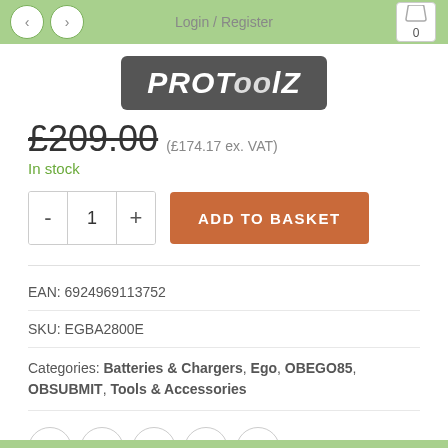Login / Register
[Figure (logo): ProToolZ logo — white italic text on dark grey rounded rectangle]
£209.00 (£174.17 ex. VAT)
In stock
ADD TO BASKET
EAN: 6924969113752
SKU: EGBA2800E
Categories: Batteries & Chargers, Ego, OBEGO85, OBSUBMIT, Tools & Accessories
[Figure (infographic): Social share icons: Facebook, Twitter, Email, Pinterest, Tumblr]